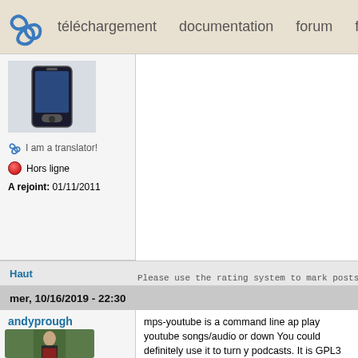téléchargement  documentation  forum  f
[Figure (screenshot): Forum user avatar showing a mobile phone device]
I am a translator!
Hors ligne
A rejoint: 01/11/2011
Haut
Please use the rating system to mark posts that go
mer, 10/16/2019 - 22:30
andyprough
[Figure (photo): Profile photo of a man smiling, wearing a dark jacket and red shirt, outdoors with green background]
En ligne
mps-youtube is a command line ap play youtube songs/audio or down You could definitely use it to turn y podcasts. It is GPL3 licensed, repository.
github link: https://github.com/mps